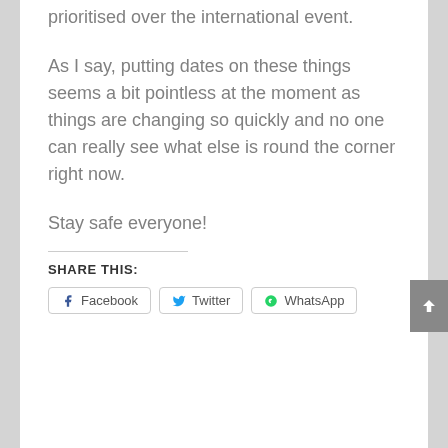prioritised over the international event.
As I say, putting dates on these things seems a bit pointless at the moment as things are changing so quickly and no one can really see what else is round the corner right now.
Stay safe everyone!
SHARE THIS:
Facebook   Twitter   WhatsApp